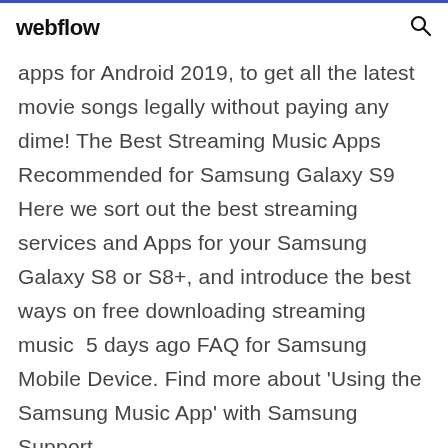webflow
apps for Android 2019, to get all the latest movie songs legally without paying any dime! The Best Streaming Music Apps Recommended for Samsung Galaxy S9  Here we sort out the best streaming services and Apps for your Samsung Galaxy S8 or S8+, and introduce the best ways on free downloading streaming music  5 days ago FAQ for Samsung Mobile Device. Find more about 'Using the Samsung Music App' with Samsung Support.
6 days ago Learn how to link your Spotify account to your Samsung smartwatch Spotify on Samsung smartwatches: How to connect, download and listen to your music Spotify is